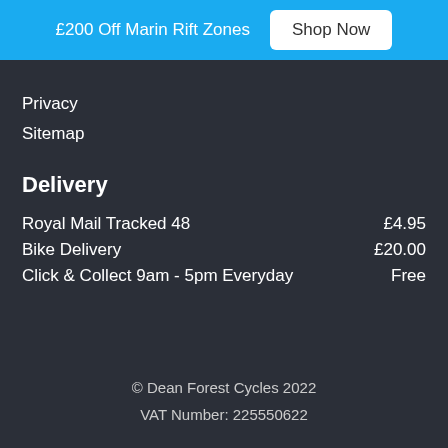£200 Off Marin Rift Zones  Shop Now
Privacy
Sitemap
Delivery
| Service | Price |
| --- | --- |
| Royal Mail Tracked 48 | £4.95 |
| Bike Delivery | £20.00 |
| Click & Collect 9am - 5pm Everyday | Free |
© Dean Forest Cycles 2022
VAT Number: 225550622